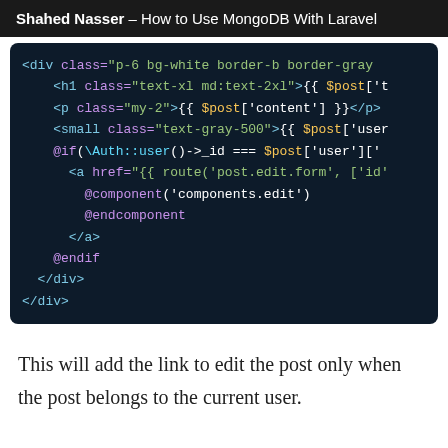Shahed Nasser – How to Use MongoDB With Laravel
[Figure (screenshot): Code editor screenshot showing Laravel Blade template HTML code with syntax highlighting on dark background. Code includes div, h1, p, small tags with Blade directives @if, @component, @endcomponent, @endif]
This will add the link to edit the post only when the post belongs to the current user.